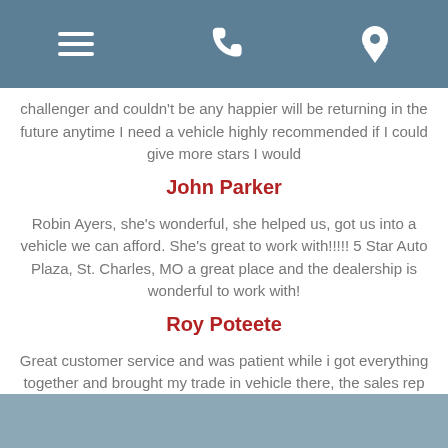[menu icon] [phone icon] [location icon]
challenger and couldn't be any happier will be returning in the future anytime I need a vehicle highly recommended if I could give more stars I would
John Parker
Robin Ayers, she’s wonderful, she helped us, got us into a vehicle we can afford. She’s great to work with!!!!! 5 Star Auto Plaza, St. Charles, MO a great place and the dealership is wonderful to work with!
Roy Poteete
Great customer service and was patient while i got everything together and brought my trade in vehicle there, the sales rep Caleb was a very nice guy and went over all the details with me on everything, I would highly recommend other to go there.
Trevor Logan